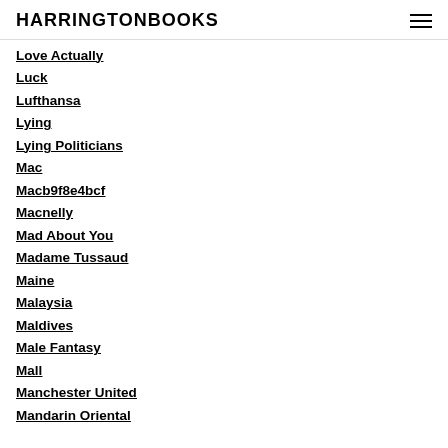HARRINGTONBOOKS
Love Actually
Luck
Lufthansa
Lying
Lying Politicians
Mac
Macb9f8e4bcf
Macnelly
Mad About You
Madame Tussaud
Maine
Malaysia
Maldives
Male Fantasy
Mall
Manchester United
Mandarin Oriental